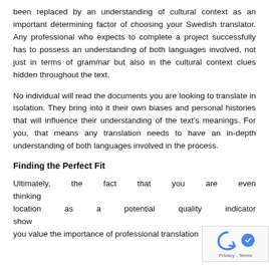been replaced by an understanding of cultural context as an important determining factor of choosing your Swedish translator. Any professional who expects to complete a project successfully has to possess an understanding of both languages involved, not just in terms of grammar but also in the cultural context clues hidden throughout the text.
No individual will read the documents you are looking to translate in isolation. They bring into it their own biases and personal histories that will influence their understanding of the text's meanings. For you, that means any translation needs to have an in-depth understanding of both languages involved in the process.
Finding the Perfect Fit
Ultimately, the fact that you are even thinking location as a potential quality indicator shows you value the importance of professional translation